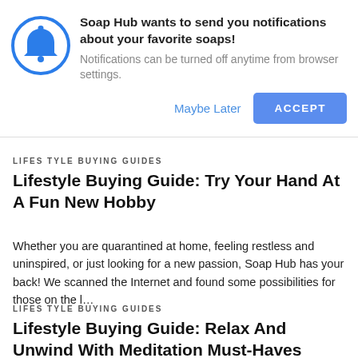[Figure (infographic): Browser notification permission dialog. Blue circle with bell icon on left. Text: 'Soap Hub wants to send you notifications about your favorite soaps! Notifications can be turned off anytime from browser settings.' Buttons: 'Maybe Later' (blue link) and 'ACCEPT' (blue button).]
LIFESTYLE BUYING GUIDES
Lifestyle Buying Guide: Try Your Hand At A Fun New Hobby
Whether you are quarantined at home, feeling restless and uninspired, or just looking for a new passion, Soap Hub has your back! We scanned the Internet and found some possibilities for those on the l…
LIFESTYLE BUYING GUIDES
Lifestyle Buying Guide: Relax And Unwind With Meditation Must-Haves
Face it. The world can feel relentless. Everyone is looking for ways to relax, seek answers and wisdom to pull us through these hard times, enjoy the music, scents, and sounds that lift us up, taking…